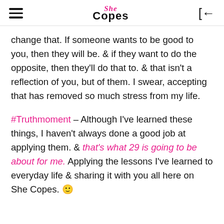She Copes
change that. If someone wants to be good to you, then they will be. & if they want to do the opposite, then they'll do that to. & that isn't a reflection of you, but of them. I swear, accepting that has removed so much stress from my life.
#Truthmoment – Although I've learned these things, I haven't always done a good job at applying them. & that's what 29 is going to be about for me. Applying the lessons I've learned to everyday life & sharing it with you all here on She Copes. 🙂